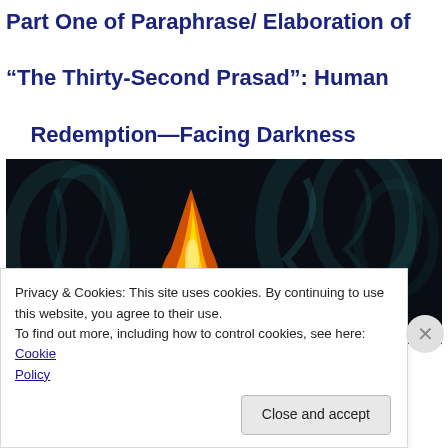Part One of Paraphrase/ Elaboration of “The Thirty-Second Prasad”: Human Redemption—Facing Darkness
[Figure (photo): Dark background image with a bright orange and yellow flame on the left center, surrounded by swirling teal and grey smoke wisps against a black background.]
Privacy & Cookies: This site uses cookies. By continuing to use this website, you agree to their use.
To find out more, including how to control cookies, see here: Cookie Policy
Close and accept